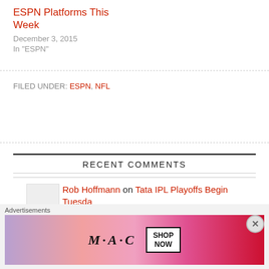ESPN Platforms This Week
December 3, 2015
In "ESPN"
FILED UNDER: ESPN, NFL
RECENT COMMENTS
Rob Hoffmann on Tata IPL Playoffs Begin Tuesda
[Figure (infographic): MAC cosmetics advertisement with lipsticks and SHOP NOW button]